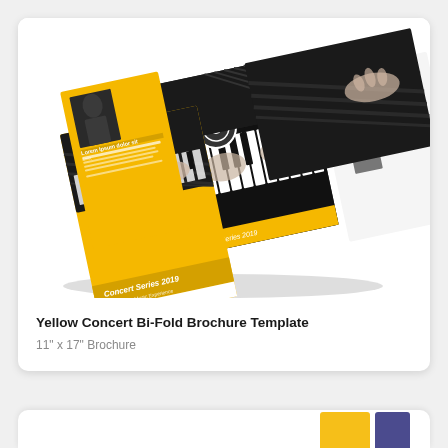[Figure (illustration): A yellow concert bi-fold brochure template shown as a 3D mockup with piano keys and musician photos, displayed at an angle showing both front cover and interior spread. Yellow and black/white color scheme.]
Yellow Concert Bi-Fold Brochure Template
11" x 17" Brochure